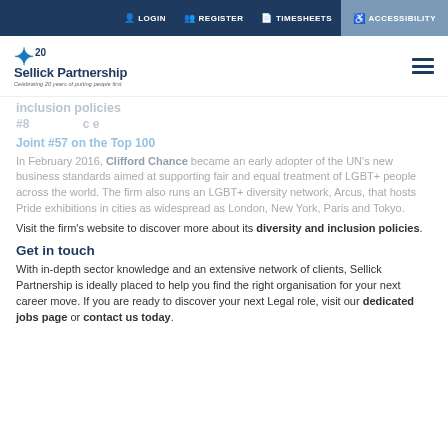LOGIN | REGISTER | TIMESHEETS | ACCESSIBILITY
[Figure (logo): Sellick Partnership logo with 20th anniversary star badge]
inclusion policies
#8 ... c e
Joint #57 on the Top 100
In February 2016, Clifford Chance became an early adopter of the UN's new business standards aimed at supporting fair and equal treatment of LGBT+ people across the world. The firm also runs an LGBT+ diversity network, Arcus, that hosts Pride exhibitions in cities as widespread as London, New York, Paris and Tokyo.
Visit the firm's website to discover more about its diversity and inclusion policies.
Get in touch
With in-depth sector knowledge and an extensive network of clients, Sellick Partnership is ideally placed to help you find the right organisation for your next career move. If you are ready to discover your next Legal role, visit our dedicated jobs page or contact us today.